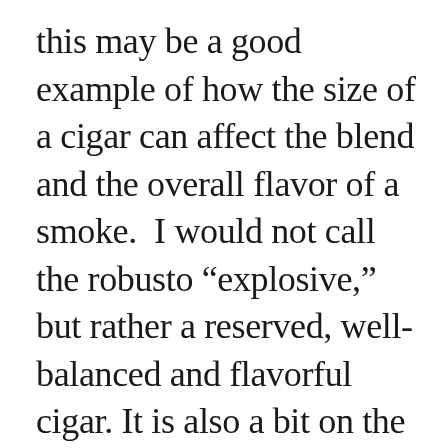this may be a good example of how the size of a cigar can affect the blend and the overall flavor of a smoke.  I would not call the robusto “explosive,” but rather a reserved, well-balanced and flavorful cigar. It is also a bit on the dry side. I especially enjoyed the nuances on the nose, despite my inability to articulate what those specific subtleties are. I’ll